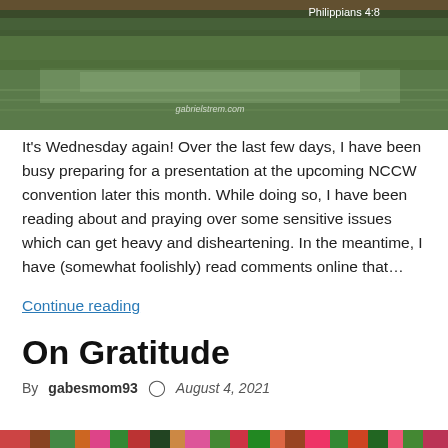[Figure (photo): Scenic outdoor photo of a wetland or flooded area with green vegetation, water reflection, and the text 'Philippians 4:8' and 'gabrielstrem.com' overlaid]
It's Wednesday again! Over the last few days, I have been busy preparing for a presentation at the upcoming NCCW convention later this month. While doing so, I have been reading about and praying over some sensitive issues which can get heavy and disheartening. In the meantime, I have (somewhat foolishly) read comments online that…
Continue reading
On Gratitude
By gabesmom93   August 4, 2021
[Figure (photo): Partial bottom strip of a colorful floral or nature image]